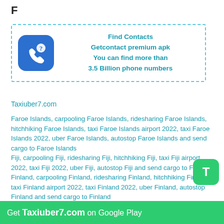F
[Figure (infographic): Find Contacts ad box with GetContact app icon (blue phone with question mark). Text: Find Contacts, Getcontact premium apk, You can find more than 3.5 Billion phone numbers]
Taxiuber7.com
Faroe Islands, carpooling Faroe Islands, ridesharing Faroe Islands, hitchhiking Faroe Islands, taxi Faroe Islands airport 2022, taxi Faroe Islands 2022, uber Faroe Islands, autostop Faroe Islands and send cargo to Faroe Islands
Fiji, carpooling Fiji, ridesharing Fiji, hitchhiking Fiji, taxi Fiji airport 2022, taxi Fiji 2022, uber Fiji, autostop Fiji and send cargo to Fiji
Finland, carpooling Finland, ridesharing Finland, hitchhiking Finland, taxi Finland airport 2022, taxi Finland 2022, uber Finland, autostop Finland and send cargo to Finland
France, carpooling France, ridesharing France,
Get Taxiuber7.com on Google Play